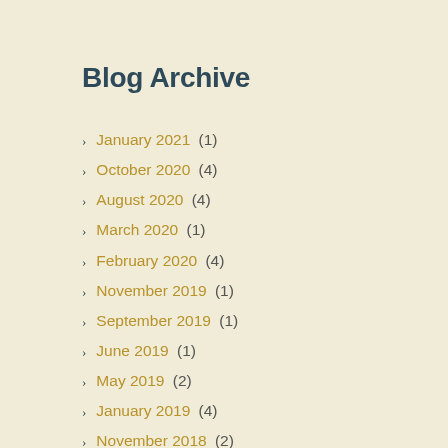Blog Archive
January 2021 (1)
October 2020 (4)
August 2020 (4)
March 2020 (1)
February 2020 (4)
November 2019 (1)
September 2019 (1)
June 2019 (1)
May 2019 (2)
January 2019 (4)
November 2018 (2)
October 2018 (4)